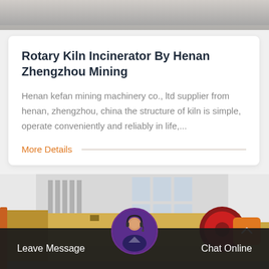[Figure (photo): Top partial photo of industrial equipment or ground surface, grey tones]
Rotary Kiln Incinerator By Henan Zhengzhou Mining
Henan kefan mining machinery co., ltd supplier from henan, zhengzhou, china the structure of kiln is simple, operate conveniently and reliably in life,...
More Details
[Figure (photo): Industrial machinery photo showing large yellow/gold grinding equipment with red circular component against white building background]
Leave Message   Chat Online